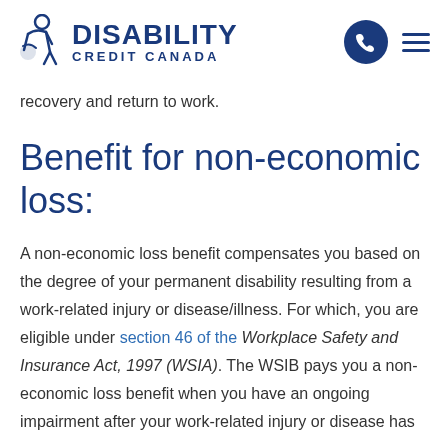Disability Credit Canada
recovery and return to work.
Benefit for non-economic loss:
A non-economic loss benefit compensates you based on the degree of your permanent disability resulting from a work-related injury or disease/illness. For which, you are eligible under section 46 of the Workplace Safety and Insurance Act, 1997 (WSIA). The WSIB pays you a non-economic loss benefit when you have an ongoing impairment after your work-related injury or disease has